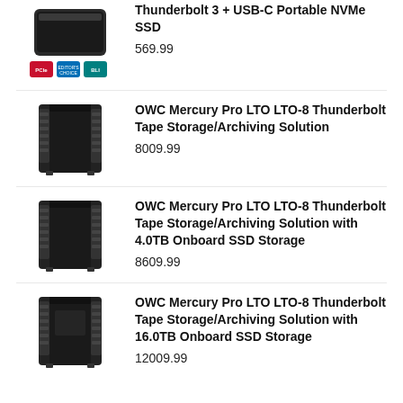Thunderbolt 3 + USB-C Portable NVMe SSD
569.99
OWC Mercury Pro LTO LTO-8 Thunderbolt Tape Storage/Archiving Solution
8009.99
OWC Mercury Pro LTO LTO-8 Thunderbolt Tape Storage/Archiving Solution with 4.0TB Onboard SSD Storage
8609.99
OWC Mercury Pro LTO LTO-8 Thunderbolt Tape Storage/Archiving Solution with 16.0TB Onboard SSD Storage
12009.99